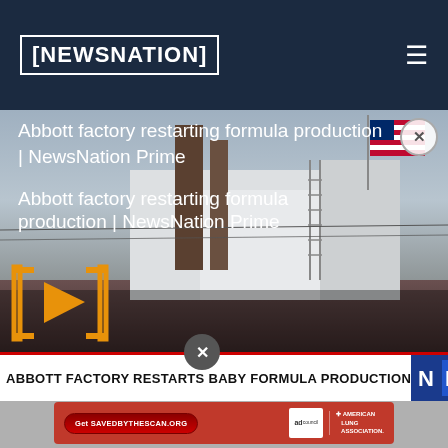NEWSNATION
[Figure (screenshot): NewsNation website screenshot showing a video thumbnail of Abbott factory restarting formula production. The video shows a factory building with smoke stacks and an American flag. There is a play button overlay in orange/gold brackets. A lower-third ticker bar reads 'ABBOTT FACTORY RESTARTS BABY FORMULA PRODUCTION' with the NewsNation logo on the right. Below is an ad for savedbythescan.org with American Lung Association branding.]
Abbott factory restarting formula production | NewsNation Prime
ABBOTT FACTORY RESTARTS BABY FORMULA PRODUCTION